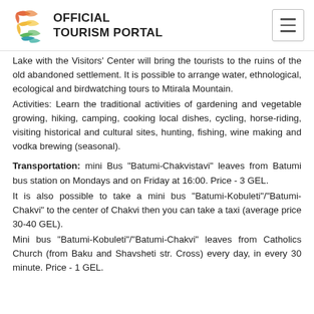OFFICIAL TOURISM PORTAL
Lake with the Visitors' Center will bring the tourists to the ruins of the old abandoned settlement. It is possible to arrange water, ethnological, ecological and birdwatching tours to Mtirala Mountain.
Activities: Learn the traditional activities of gardening and vegetable growing, hiking, camping, cooking local dishes, cycling, horse-riding, visiting historical and cultural sites, hunting, fishing, wine making and vodka brewing (seasonal).
Transportation: mini Bus "Batumi-Chakvistavi" leaves from Batumi bus station on Mondays and on Friday at 16:00. Price - 3 GEL.
It is also possible to take a mini bus "Batumi-Kobuleti"/"Batumi-Chakvi" to the center of Chakvi then you can take a taxi (average price 30-40 GEL).
Mini bus "Batumi-Kobuleti"/"Batumi-Chakvi" leaves from Catholics Church (from Baku and Shavsheti str. Cross) every day, in every 30 minute. Price - 1 GEL.